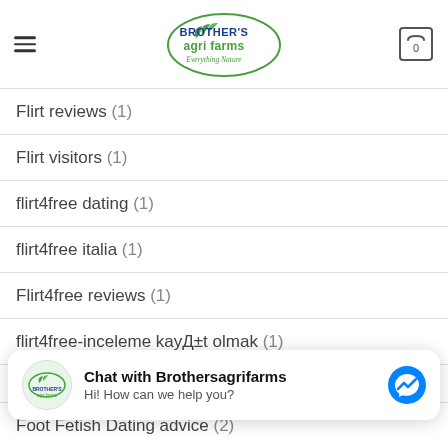Brother's Agri Farms – Everything Nature
Flirt reviews (1)
Flirt visitors (1)
flirt4free dating (1)
flirt4free italia (1)
Flirt4free reviews (1)
flirt4free-inceleme kayД±t olmak (1)
flirthookup gratis (1)
flirthookup italia (1)
Chat with Brothersagrifarms
Hi! How can we help you?
Foot Fetish Dating advice (2)